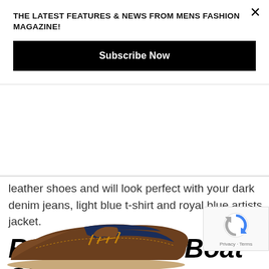THE LATEST FEATURES & NEWS FROM MENS FASHION MAGAZINE!
Subscribe Now
leather shoes and will look perfect with your dark denim jeans, light blue t-shirt and royal blue artists jacket.
Ralph Lauren Boat Shoes
[Figure (photo): Partial view of a brown leather boat shoe (Ralph Lauren) with navy blue accents and brown laces, photographed from a low angle.]
[Figure (logo): Google reCAPTCHA badge with reCAPTCHA logo and Privacy · Terms text]